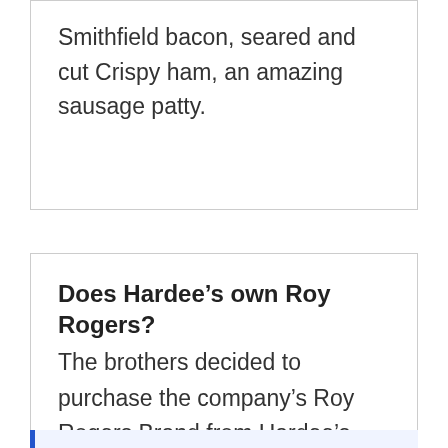Smithfield bacon, seared and cut Crispy ham, an amazing sausage patty.
Does Hardee’s own Roy Rogers?
The brothers decided to purchase the company’s Roy Rogers Brand from Hardee’s parent company CKE Restaurants.